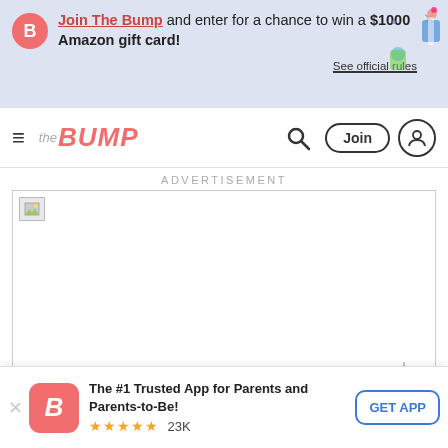Join The Bump and enter for a chance to win a $1000 Amazon gift card! See official rules
the BUMP — Join — user icon
ADVERTISEMENT
[Figure (other): Advertisement image area (blank/broken image) for Lullaby Earth crib mattress ad with blue bottom border]
Parenting is Stressful. Choosing a Crib Mattress Doesn't Have to Be.
Sponsored by Lullaby Earth – Safer for your baby. Easier on your wallet. Discover non-toxic crib mattresses at budget-friendly prices.
[Figure (logo): Deals & Offers badge from The Bump]
The #1 Trusted App for Parents and Parents-to-Be! ★★★★★ 23K — GET APP